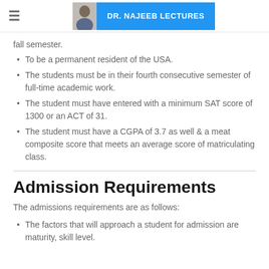DR. NAJEEB LECTURES
fall semester.
To be a permanent resident of the USA.
The students must be in their fourth consecutive semester of full-time academic work.
The student must have entered with a minimum SAT score of 1300 or an ACT of 31.
The student must have a CGPA of 3.7 as well & a meat composite score that meets an average score of matriculating class.
Admission Requirements
The admissions requirements are as follows:
The factors that will approach a student for admission are maturity, skill level.